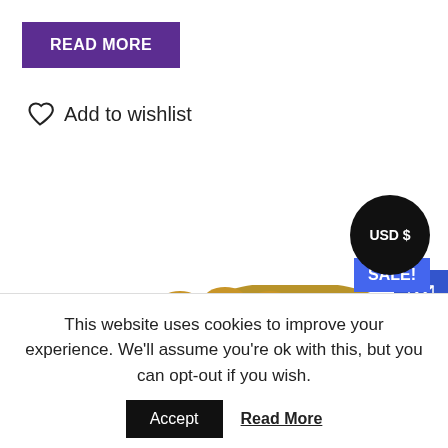READ MORE
Add to wishlist
USD $
SALE!
[Figure (photo): Two decorative metal buckle or ornament pieces — one gold-toned arch-shaped piece on the left and one dark brown multi-arch shaped piece on the right, photographed on white background.]
This website uses cookies to improve your experience. We'll assume you're ok with this, but you can opt-out if you wish.
Accept
Read More